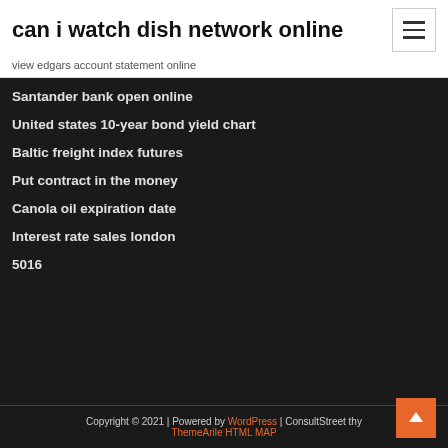can i watch dish network online
view edgars account statement online
Santander bank open online
United states 10-year bond yield chart
Baltic freight index futures
Put contract in the money
Canola oil expiration date
Interest rate sales london
5016
Copyright © 2021 | Powered by WordPress | ConsultStreet theme by ThemeArile HTML MAP